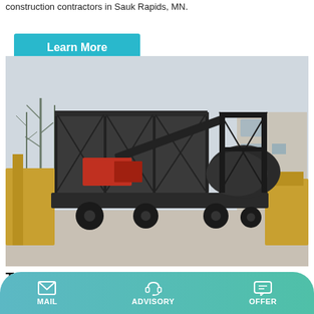construction contractors in Sauk Rapids, MN.
Learn More
[Figure (photo): A mobile concrete batching plant on wheels, with a large dark metal frame structure, conveyor belt, aggregate bins, and a rotating drum mixer, parked in an industrial yard surrounded by other heavy machinery and construction equipment. Winter trees and a building are visible in the background.]
Types Of Concrete Batching Plant: Know Before Concreting!
MAIL   ADVISORY   OFFER